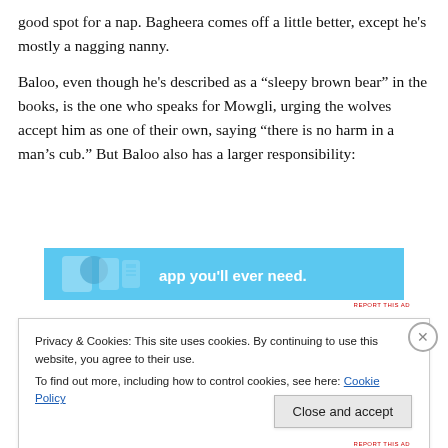good spot for a nap. Bagheera comes off a little better, except he’s mostly a nagging nanny.
Baloo, even though he’s described as a “sleepy brown bear” in the books, is the one who speaks for Mowgli, urging the wolves accept him as one of their own, saying “there is no harm in a man’s cub.” But Baloo also has a larger responsibility:
[Figure (screenshot): Advertisement banner with cyan/blue background showing icons and text 'app you'll ever need.']
Privacy & Cookies: This site uses cookies. By continuing to use this website, you agree to their use.
To find out more, including how to control cookies, see here: Cookie Policy
Close and accept